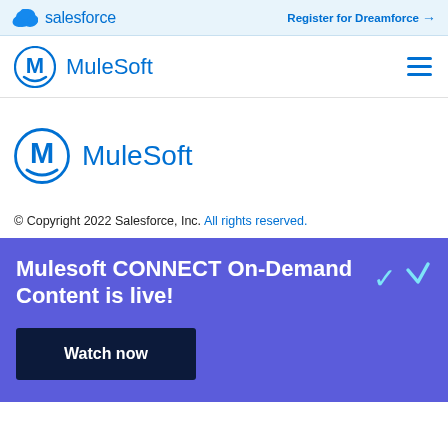salesforce   Register for Dreamforce →
[Figure (logo): MuleSoft logo with hamburger menu in navigation bar]
[Figure (logo): MuleSoft logo (large) in main content area]
© Copyright 2022 Salesforce, Inc. All rights reserved.
Mulesoft CONNECT On-Demand Content is live!
Watch now